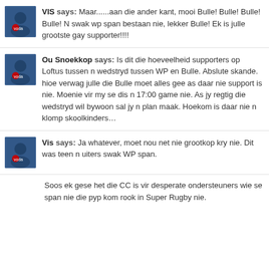VIS says: Maar......aan die ander kant, mooi Bulle! Bulle! Bulle! Bulle! N swak wp span bestaan nie, lekker Bulle! Ek is julle grootste gay supporter!!!!
Ou Snoekkop says: Is dit die hoeveelheid supporters op Loftus tussen n wedstryd tussen WP en Bulle. Abslute skande. hioe verwag julle die Bulle moet alles gee as daar nie support is nie. Moenie vir my se dis n 17:00 game nie. As jy regtig die wedstryd wil bywoon sal jy n plan maak. Hoekom is daar nie n klomp skoolkinders…
Vis says: Ja whatever, moet nou net nie grootkop kry nie. Dit was teen n uiters swak WP span.
Soos ek gese het die CC is vir desperate ondersteuners wie se span nie die pyp kom rook in Super Rugby nie.